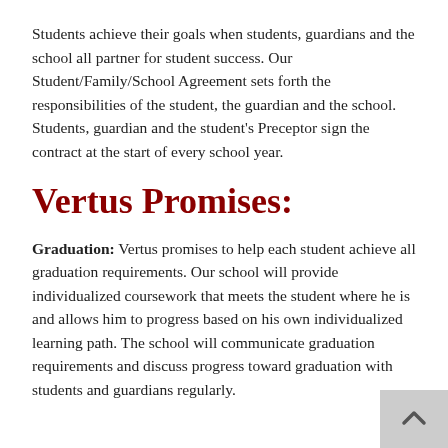Students achieve their goals when students, guardians and the school all partner for student success. Our Student/Family/School Agreement sets forth the responsibilities of the student, the guardian and the school. Students, guardian and the student's Preceptor sign the contract at the start of every school year.
Vertus Promises:
Graduation: Vertus promises to help each student achieve all graduation requirements. Our school will provide individualized coursework that meets the student where he is and allows him to progress based on his own individualized learning path. The school will communicate graduation requirements and discuss progress toward graduation with students and guardians regularly.